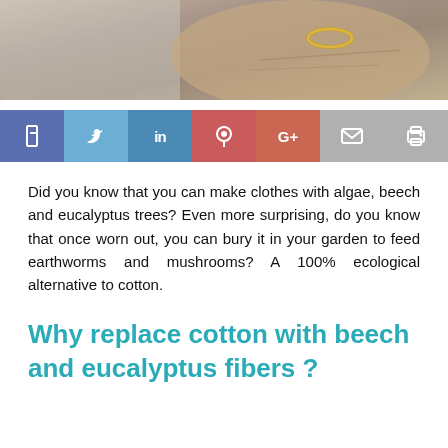[Figure (photo): Close-up photo of elderly person's hands wearing a gold bracelet, with grey fabric visible]
[Figure (infographic): Social media sharing bar with icons: Facebook, Twitter, LinkedIn, Pinterest, Google+, Email, Print]
Did you know that you can make clothes with algae, beech and eucalyptus trees? Even more surprising, do you know that once worn out, you can bury it in your garden to feed earthworms and mushrooms? A 100% ecological alternative to cotton.
Why replace cotton with beech and eucalyptus fibers ?